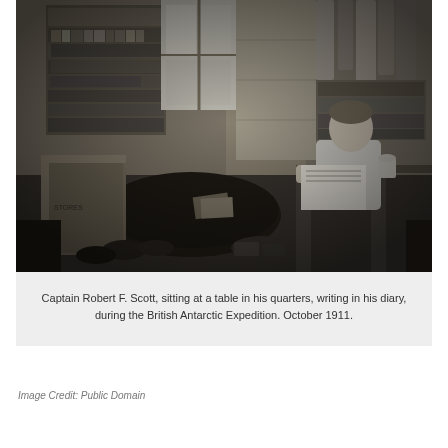[Figure (photo): Black and white photograph of Captain Robert F. Scott sitting at a table in his quarters, writing in his diary, surrounded by gear, books, clothing hanging in the background. British Antarctic Expedition, October 1911.]
Captain Robert F. Scott, sitting at a table in his quarters, writing in his diary, during the British Antarctic Expedition. October 1911.
Image Credit: Public Domain